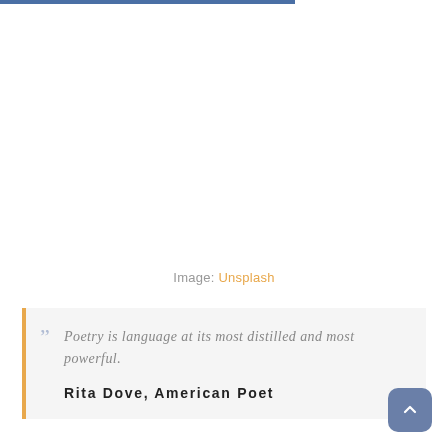Image: Unsplash
Poetry is language at its most distilled and most powerful.

Rita Dove, American Poet